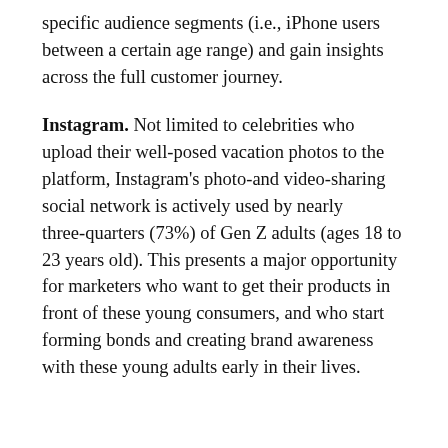specific audience segments (i.e., iPhone users between a certain age range) and gain insights across the full customer journey.
Instagram. Not limited to celebrities who upload their well-posed vacation photos to the platform, Instagram's photo-and video-sharing social network is actively used by nearly three-quarters (73%) of Gen Z adults (ages 18 to 23 years old). This presents a major opportunity for marketers who want to get their products in front of these young consumers, and who start forming bonds and creating brand awareness with these young adults early in their lives.